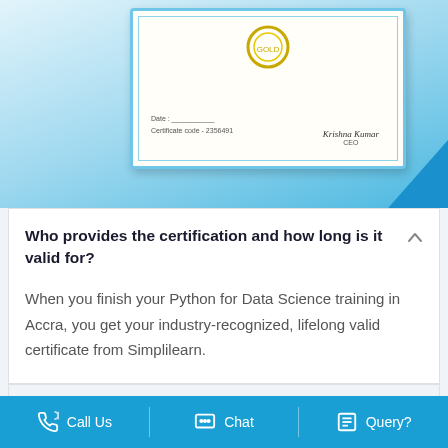[Figure (illustration): Certificate card image with gold medal/seal, date line, certificate code, and Krishna Kumar CEO signature, displayed against a blue gradient background with a blue triangular shape in the bottom right]
Who provides the certification and how long is it valid for?
When you finish your Python for Data Science training in Accra, you get your industry-recognized, lifelong valid certificate from Simplilearn.
What do I need to unlock my Simplilearn certificate?
Do you provide any practice tests as part of
Call Us   Chat   Query?